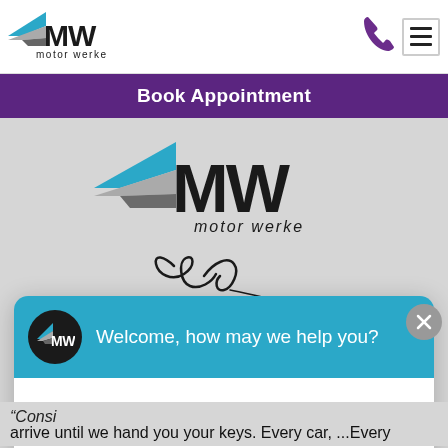[Figure (logo): Motor Werke (MW) logo — small version in header nav bar, with blue and grey chevron/wing and bold MW text, 'motor werke' below]
[Figure (logo): Phone icon (purple handset) in header]
[Figure (other): Hamburger menu icon (three horizontal lines) in a bordered box in header]
Book Appointment
[Figure (logo): Motor Werke large center logo — MW letters with blue and grey chevron wings, 'motor werke' below in bold italic]
[Figure (illustration): A handwritten cursive signature in black ink]
[Figure (screenshot): Chat widget popup: teal/cyan header with MW avatar icon and text 'Welcome, how may we help you?', white body with placeholder 'Write your message...' and grey send button. Grey X close button top right.]
“Consi
arrive until we hand you your keys. Every car, ...Every